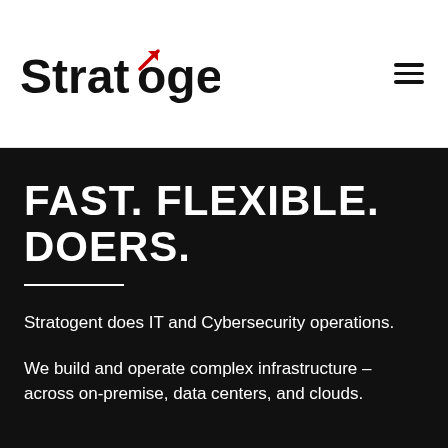[Figure (logo): Stratogent logo with red arrow accent over the letter 'o', black bold serif-style wordmark]
FAST. FLEXIBLE. DOERS.
Stratogent does IT and Cybersecurity operations.
We build and operate complex infrastructure – across on-premise, data centers, and clouds.